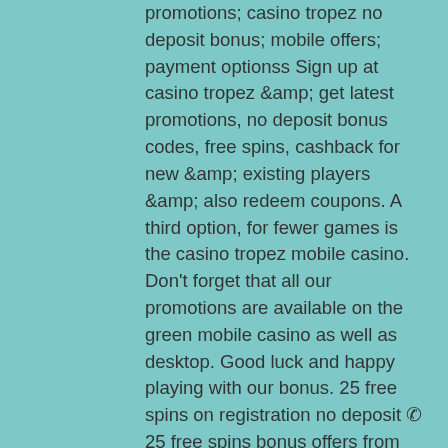promotions; casino tropez no deposit bonus; mobile offers; payment optionss Sign up at casino tropez &amp; get latest promotions, no deposit bonus codes, free spins, cashback for new &amp; existing players &amp; also redeem coupons. A third option, for fewer games is the casino tropez mobile casino. Don't forget that all our promotions are available on the green mobile casino as well as desktop. Good luck and happy playing with our bonus. 25 free spins on registration no deposit ✆ 25 free spins bonus offers from online casinos in canada rich casino ⚡ all slots casino ⚡ playamo. The lack of details is the biggest annoyance here as there are no minimum or maximum amounts mentioned anywhere. So, we will have to assume the minimum deposit. The online gaming platform offers new customers a match deposit bonus of up to. Casino tropez live casino bonus. Although there is